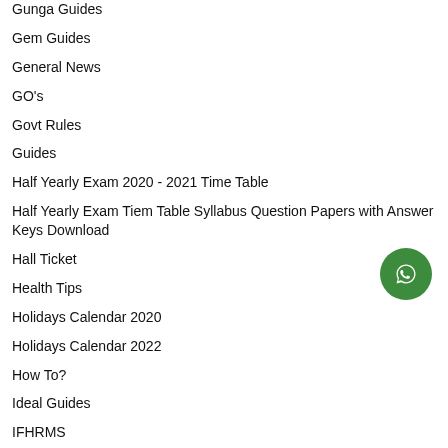Gunga Guides
Gem Guides
General News
GO's
Govt Rules
Guides
Half Yearly Exam 2020 - 2021 Time Table
Half Yearly Exam Tiem Table Syllabus Question Papers with Answer Keys Download
Hall Ticket
Health Tips
Holidays Calendar 2020
Holidays Calendar 2022
How To?
Ideal Guides
IFHRMS
Important Links
[Figure (logo): WhatsApp floating button icon (green circle with white phone/chat icon)]